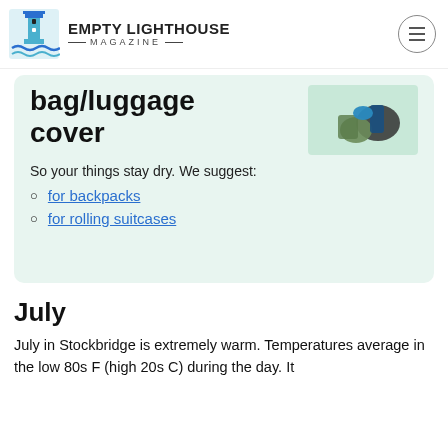Empty Lighthouse Magazine
bag/luggage cover
So your things stay dry. We suggest:
for backpacks
for rolling suitcases
July
July in Stockbridge is extremely warm. Temperatures average in the low 80s F (high 20s C) during the day. It